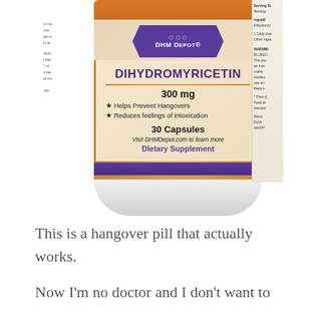[Figure (photo): DHM Depot Dihydromyricetin 300mg dietary supplement bottle showing front label with product name, dosage, bullet points for hangover prevention and reducing intoxication feelings, 30 capsules, website, and Dietary Supplement designation]
This is a hangover pill that actually works.
Now I'm no doctor and I don't want to